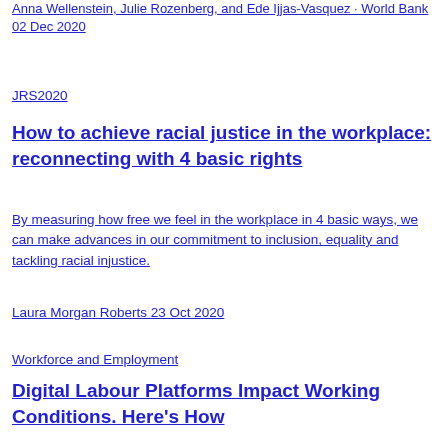Anna Wellenstein, Julie Rozenberg, and Ede Ijjas-Vasquez · World Bank 02 Dec 2020
JRS2020
How to achieve racial justice in the workplace: reconnecting with 4 basic rights
By measuring how free we feel in the workplace in 4 basic ways, we can make advances in our commitment to inclusion, equality and tackling racial injustice.
Laura Morgan Roberts 23 Oct 2020
Workforce and Employment
Digital Labour Platforms Impact Working Conditions. Here's How
Here's how digital labour platforms are affecting the overall working conditions globally. Despite performing valuable work for many